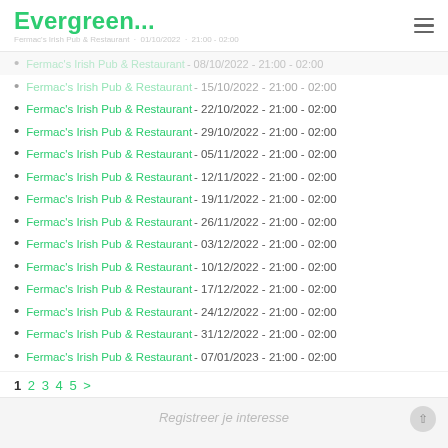Evergreen...
Fermac's Irish Pub & Restaurant - 15/10/2022 - 21:00 - 02:00
Fermac's Irish Pub & Restaurant - 22/10/2022 - 21:00 - 02:00
Fermac's Irish Pub & Restaurant - 29/10/2022 - 21:00 - 02:00
Fermac's Irish Pub & Restaurant - 05/11/2022 - 21:00 - 02:00
Fermac's Irish Pub & Restaurant - 12/11/2022 - 21:00 - 02:00
Fermac's Irish Pub & Restaurant - 19/11/2022 - 21:00 - 02:00
Fermac's Irish Pub & Restaurant - 26/11/2022 - 21:00 - 02:00
Fermac's Irish Pub & Restaurant - 03/12/2022 - 21:00 - 02:00
Fermac's Irish Pub & Restaurant - 10/12/2022 - 21:00 - 02:00
Fermac's Irish Pub & Restaurant - 17/12/2022 - 21:00 - 02:00
Fermac's Irish Pub & Restaurant - 24/12/2022 - 21:00 - 02:00
Fermac's Irish Pub & Restaurant - 31/12/2022 - 21:00 - 02:00
Fermac's Irish Pub & Restaurant - 07/01/2023 - 21:00 - 02:00
1 2 3 4 5 >
Registreer je interesse